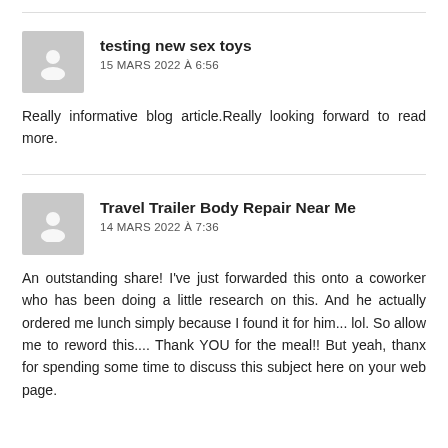testing new sex toys
15 MARS 2022 À 6:56
Really informative blog article.Really looking forward to read more.
Travel Trailer Body Repair Near Me
14 MARS 2022 À 7:36
An outstanding share! I've just forwarded this onto a coworker who has been doing a little research on this. And he actually ordered me lunch simply because I found it for him... lol. So allow me to reword this.... Thank YOU for the meal!! But yeah, thanx for spending some time to discuss this subject here on your web page.